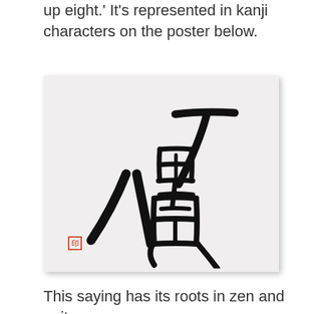up eight.' It's represented in kanji characters on the poster below.
[Figure (photo): A light gray poster with large black Japanese calligraphy kanji characters reading 七転八起 (nana korobi ya oki / fall seven times, get up eight), with a small red seal stamp in the lower left corner.]
This saying has its roots in zen and quite